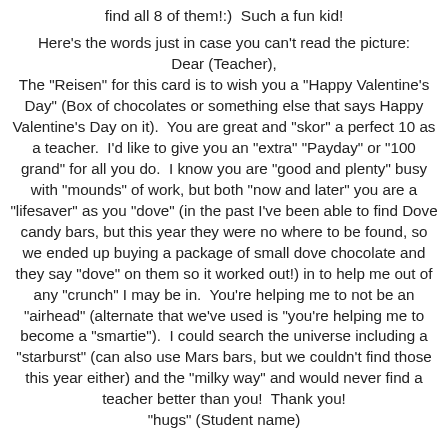find all 8 of them!:)  Such a fun kid!
Here's the words just in case you can't read the picture:
Dear (Teacher),
The "Reisen" for this card is to wish you a "Happy Valentine's Day" (Box of chocolates or something else that says Happy Valentine's Day on it).  You are great and "skor" a perfect 10 as a teacher.  I'd like to give you an "extra" "Payday" or "100 grand" for all you do.  I know you are "good and plenty" busy with "mounds" of work, but both "now and later" you are a "lifesaver" as you "dove" (in the past I've been able to find Dove candy bars, but this year they were no where to be found, so we ended up buying a package of small dove chocolate and they say "dove" on them so it worked out!) in to help me out of any "crunch" I may be in.  You're helping me to not be an "airhead" (alternate that we've used is "you're helping me to become a "smartie").  I could search the universe including a "starburst" (can also use Mars bars, but we couldn't find those this year either) and the "milky way" and would never find a teacher better than you!  Thank you!
"hugs" (Student name)